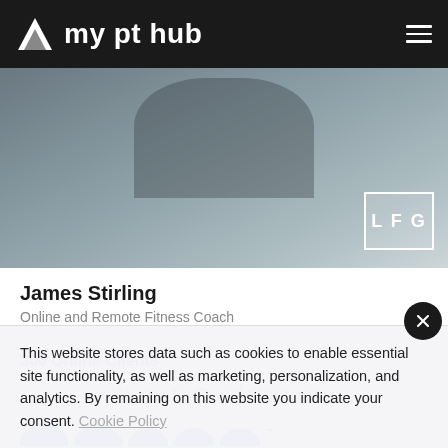my pt hub
[Figure (screenshot): Hero background image showing a person exercising outdoors on elevated bars, with an LFG badge overlay in the bottom right]
James Stirling
Online and Remote Fitness Coach
300 Online Clients
You're In Good Company.
This website stores data such as cookies to enable essential site functionality, as well as marketing, personalization, and analytics. By remaining on this website you indicate your consent. Cookie Policy